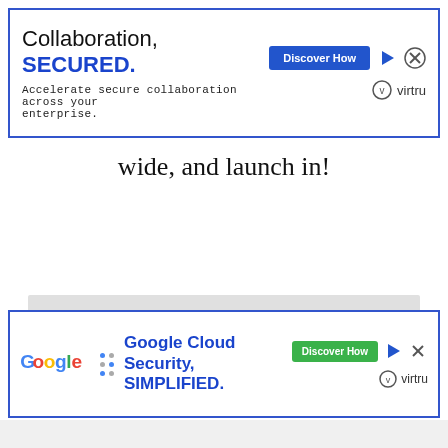[Figure (screenshot): Advertisement banner: 'Collaboration, SECURED.' with Discover How button and Virtru logo]
wide, and launch in!
[Figure (other): Gray placeholder/image box]
Notes
1. Puy lentils are a must for this recipe because they have the correct texture that helps create
[Figure (screenshot): Advertisement banner: Google Cloud Security, SIMPLIFIED. with Discover How button and Virtru logo]